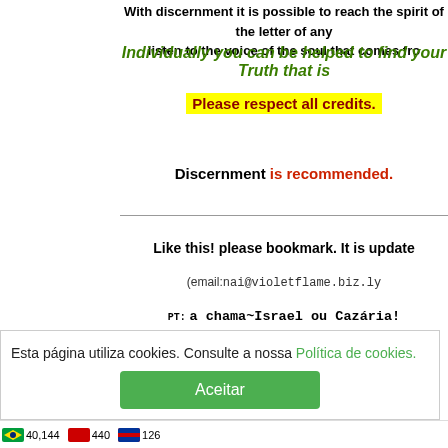With discernment it is possible to reach the spirit of the letter of any listen to the voice of the soul that comes fro
Individually you can be helped to find your Truth that is
Please respect all credits.
Discernment is recommended.
Like this! please bookmark. It is update
(email:nai@violetflame.biz.ly
PT: a chama~Israel ou Cazária!
ES: LLAMA VTOLFTA
FN: VioletFlame
North Atlantic Islands
PayPal
trafficbot.uk/
Esta página utiliza cookies. Consulte a nossa Política de cookies.
Aceitar
40,144   440   126